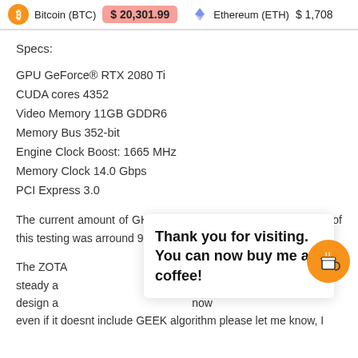Bitcoin (BTC) $20,301.99   Ethereum (ETH) $1,708
Specs:
GPU GeForce® RTX 2080 Ti
CUDA cores 4352
Video Memory 11GB GDDR6
Memory Bus 352-bit
Engine Clock Boost: 1665 MHz
Memory Clock 14.0 Gbps
PCI Express 3.0
The current amount of GH total on the network at the moment of this testing was arround 9GH and difficulty from 100 to 140 ish.
The ZOTA... steady a... design a... even if it doesnt include GEEK algorithm please let me know, I
Thank you for visiting. You can now buy me a coffee!